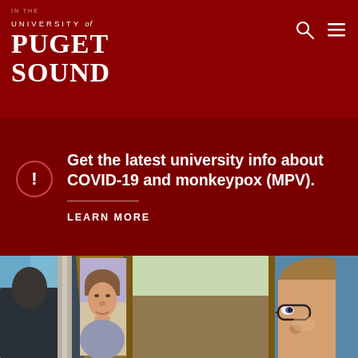University of Puget Sound
Get the latest university info about COVID-19 and monkeypox (MPV).
LEARN MORE
[Figure (photo): Close-up photo of painted portrait canvases showing faces, with blurred people in the background. Blue and warm tones visible. Art exhibition setting.]